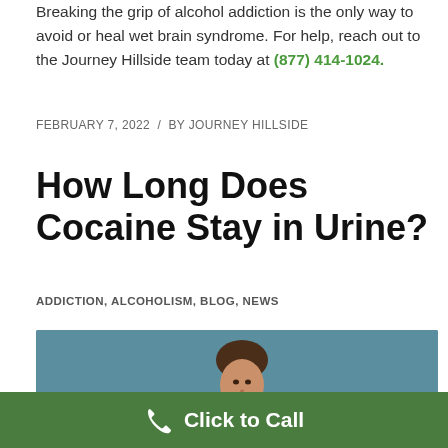Breaking the grip of alcohol addiction is the only way to avoid or heal wet brain syndrome. For help, reach out to the Journey Hillside team today at (877) 414-1024.
FEBRUARY 7, 2022  /  BY JOURNEY HILLSIDE
How Long Does Cocaine Stay in Urine?
ADDICTION, ALCOHOLISM, BLOG, NEWS
[Figure (photo): Woman in orange top with hand on chin in thinking pose, seated against a teal/blue background]
Click to Call